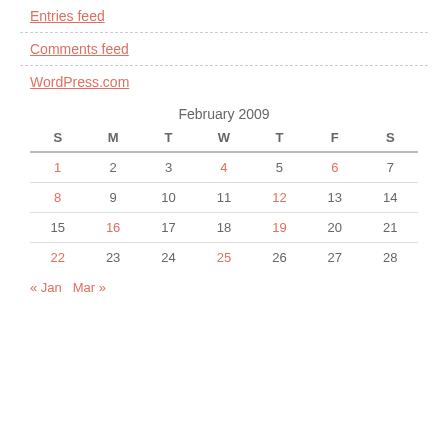Entries feed
Comments feed
WordPress.com
| S | M | T | W | T | F | S |
| --- | --- | --- | --- | --- | --- | --- |
| 1 | 2 | 3 | 4 | 5 | 6 | 7 |
| 8 | 9 | 10 | 11 | 12 | 13 | 14 |
| 15 | 16 | 17 | 18 | 19 | 20 | 21 |
| 22 | 23 | 24 | 25 | 26 | 27 | 28 |
« Jan   Mar »